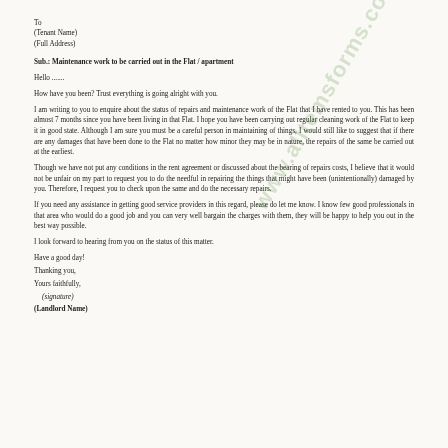To
(Tenant Name)
(Full Address)
Sub.: Maintenance work to be carried out in the Flat / apartment
Hello .......
How have you been? Trust everything is going alright with you.
I am writing to you to enquire about the status of repairs and maintenance work of the Flat that I have rented to you. This has been almost 7 months since you have been living in that Flat. I hope you have been carrying out regular cleaning work of the Flat to keep it in good state. Although I am sure you must be a careful person in maintaining of things, I would still like to suggest that if there are any damages that have been done to the Flat no matter how minor they may be in nature, the repairs of the same be carried out at the earliest.
Though we have not put any conditions in the rent agreement or discussed about the bearing of repairs costs, I believe that it would not be unfair on my part to request you to do the needful in repairing the things that might have been (unintentionally) damaged by you. Therefore, I request you to check upon the same and do the necessary repairs.
If you need any assistance in getting good service providers in this regard, please do let me know. I know few good professionals in that area who would do a good job and you can very well bargain the charges with them, they will be happy to help you out in the best way possible.
I look forward to hearing from you on the status of this matter.
Have a good day!
Thanking you,
Yours faithfully,
(signature)
(Landlord Name)